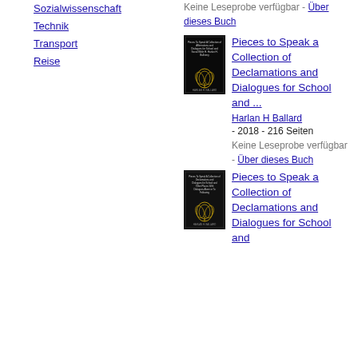Sozialwissenschaft
Technik
Transport
Reise
Keine Leseprobe verfügbar - Über dieses Buch
[Figure (photo): Book cover of Pieces to Speak a Collection of Declamations and Dialogues for School and ... - dark/black cover with emblem]
Pieces to Speak a Collection of Declamations and Dialogues for School and ...
Harlan H Ballard
- 2018 - 216 Seiten
Keine Leseprobe verfügbar - Über dieses Buch
[Figure (photo): Book cover of Pieces to Speak a Collection of Declamations and Dialogues for School and ... - dark/black cover with emblem, second edition]
Pieces to Speak a Collection of Declamations and Dialogues for School and